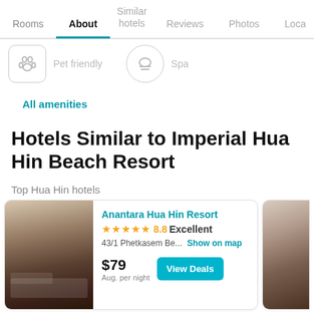Rooms  About  Similar hotels  Reviews  Photos  Location
[Figure (other): Amenity icons: pet friendly icon and spa icon, partially visible]
Pet friendly   Spa
All amenities
Hotels Similar to Imperial Hua Hin Beach Resort
Top Hua Hin hotels
Anantara Hua Hin Resort
★★★★★ 8.8 Excellent
43/1 Phetkasem Be...  Show on map
$79
Aug. per night
View Deals